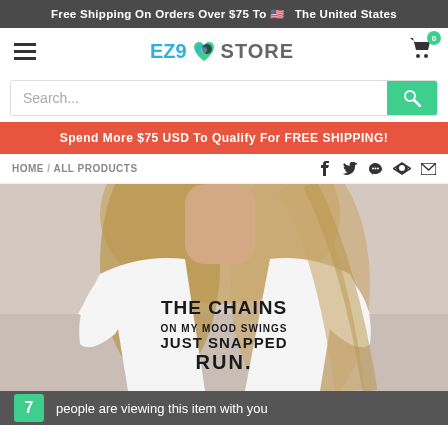Free Shipping On Orders Over $75 To 🇺🇸 The United States
EZ9 STORE
Search...
Spend More $75 USD To Qualify For FREE SHIPPING!
HOME / ALL PRODUCTS
[Figure (photo): Woman wearing a white t-shirt with the text 'THE CHAINS ON MY MOOD SWINGS JUST SNAPPED RUN.' printed on it]
7 people are viewing this item with you